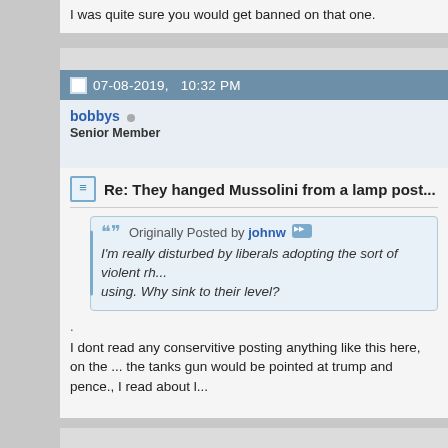I was quite sure you would get banned on that one.
07-08-2019, 10:32 PM
bobbys  Senior Member
Re: They hanged Mussolini from a lamp post...
Originally Posted by johnw
I'm really disturbed by liberals adopting the sort of violent rh... using. Why sink to their level?
.
I dont read any conservitive posting anything like this here, on the ... the tanks gun would be pointed at trump and pence., I read about l...